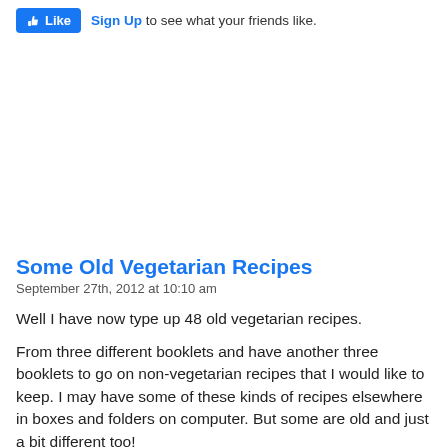[Figure (screenshot): Facebook Like button widget with thumbs-up icon and 'Sign Up to see what your friends like.' text]
Some Old Vegetarian Recipes
September 27th, 2012 at 10:10 am
Well I have now type up 48 old vegetarian recipes.
From three different booklets and have another three booklets to go on non-vegetarian recipes that I would like to keep. I may have some of these kinds of recipes elsewhere in boxes and folders on computer. But some are old and just a bit different too!
Here are a few vegetarian ones that I have found. Soy Luncheon Meat